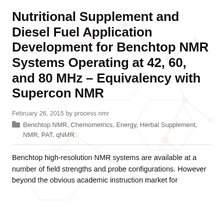Nutritional Supplement and Diesel Fuel Application Development for Benchtop NMR Systems Operating at 42, 60, and 80 MHz – Equivalency with Supercon NMR
February 26, 2015 by process nmr
Benchtop NMR, Chemometrics, Energy, Herbal Supplement, NMR, PAT, qNMR
Benchtop high-resolution NMR systems are available at a number of field strengths and probe configurations. However beyond the obvious academic instruction market for